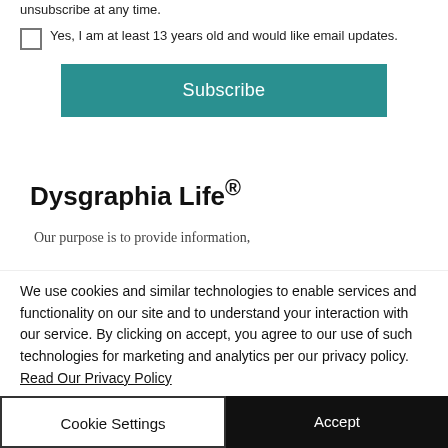unsubscribe at any time.
Yes, I am at least 13 years old and would like email updates.
Subscribe
Dysgraphia Life®
Our purpose is to provide information,
We use cookies and similar technologies to enable services and functionality on our site and to understand your interaction with our service. By clicking on accept, you agree to our use of such technologies for marketing and analytics per our privacy policy. Read Our Privacy Policy
Cookie Settings
Accept